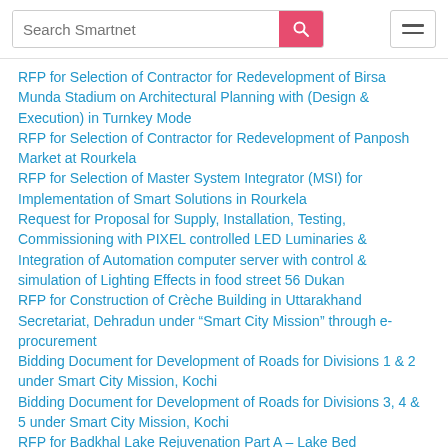Search Smartnet
RFP for Selection of Contractor for Redevelopment of Birsa Munda Stadium on Architectural Planning with (Design & Execution) in Turnkey Mode
RFP for Selection of Contractor for Redevelopment of Panposh Market at Rourkela
RFP for Selection of Master System Integrator (MSI) for Implementation of Smart Solutions in Rourkela
Request for Proposal for Supply, Installation, Testing, Commissioning with PIXEL controlled LED Luminaries & Integration of Automation computer server with control & simulation of Lighting Effects in food street 56 Dukan
RFP for Construction of Crèche Building in Uttarakhand Secretariat, Dehradun under “Smart City Mission” through e-procurement
Bidding Document for Development of Roads for Divisions 1 & 2 under Smart City Mission, Kochi
Bidding Document for Development of Roads for Divisions 3, 4 & 5 under Smart City Mission, Kochi
RFP for Badkhal Lake Rejuvenation Part A – Lake Bed